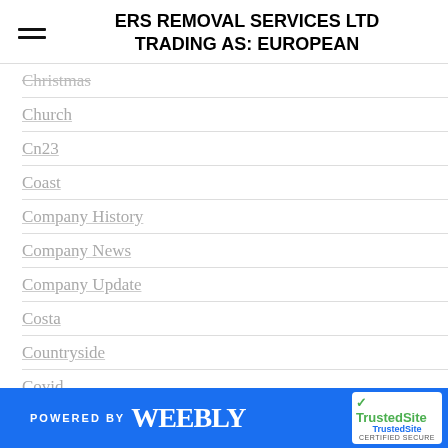ERS REMOVAL SERVICES LTD TRADING AS: EUROPEAN
Christmas
Church
Cn23
Coast
Company History
Company News
Company Update
Costa
Countryside
Covid
Covid Policy
Culture
Customs
Customs Advice
Cute
POWERED BY weebly  TrustedSite CERTIFIED SECURE